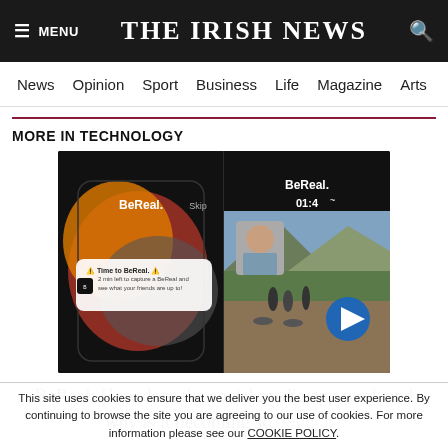≡ MENU   THE IRISH NEWS   🔍
News  Opinion  Sport  Business  Life  Magazine  Arts
MORE IN TECHNOLOGY
[Figure (screenshot): Two screenshots of the BeReal app. Left screenshot shows the BeReal logo and a notification: '⚠️ Time to BeReal. ⚠️ 2 min left to capture a BeReal and see what your friends are up to!' with a colorful abstract background. Right screenshot shows the BeReal logo, a timer '01:4x', and a photo of people with bicycles in a mountain setting with a play button overlay.]
BeReal: How does the social media app work and why is it becoming so popular?
This site uses cookies to ensure that we deliver you the best user experience. By continuing to browse the site you are agreeing to our use of cookies. For more information please see our COOKIE POLICY.